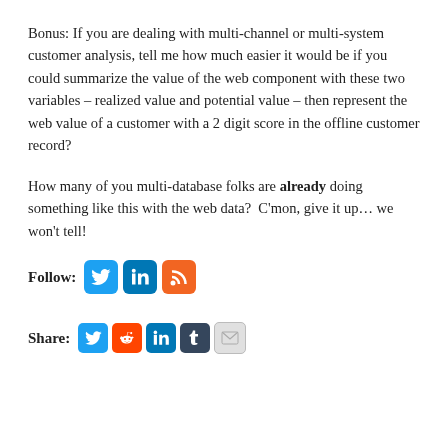Bonus: If you are dealing with multi-channel or multi-system customer analysis, tell me how much easier it would be if you could summarize the value of the web component with these two variables – realized value and potential value – then represent the web value of a customer with a 2 digit score in the offline customer record?
How many of you multi-database folks are already doing something like this with the web data?  C'mon, give it up... we won't tell!
Follow: [Twitter icon] [LinkedIn icon] [RSS icon]
Share: [Twitter icon] [Reddit icon] [LinkedIn icon] [Tumblr icon] [Email icon]